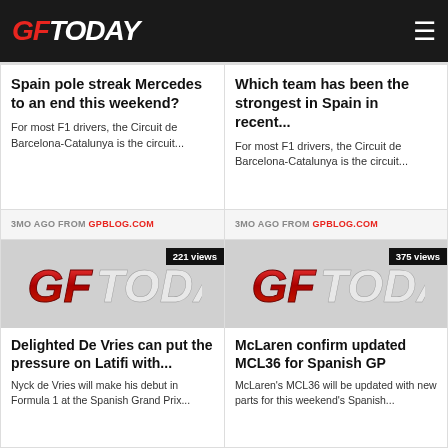GFToday
Spain pole streak Mercedes to an end this weekend?
For most F1 drivers, the Circuit de Barcelona-Catalunya is the circuit...
Which team has been the strongest in Spain in recent...
For most F1 drivers, the Circuit de Barcelona-Catalunya is the circuit...
3MO AGO FROM GPBLOG.COM
3MO AGO FROM GPBLOG.COM
[Figure (logo): GFToday logo placeholder thumbnail, 221 views]
[Figure (logo): GFToday logo placeholder thumbnail, 375 views]
Delighted De Vries can put the pressure on Latifi with...
Nyck de Vries will make his debut in Formula 1 at the Spanish Grand Prix...
McLaren confirm updated MCL36 for Spanish GP
McLaren's MCL36 will be updated with new parts for this weekend's Spanish...